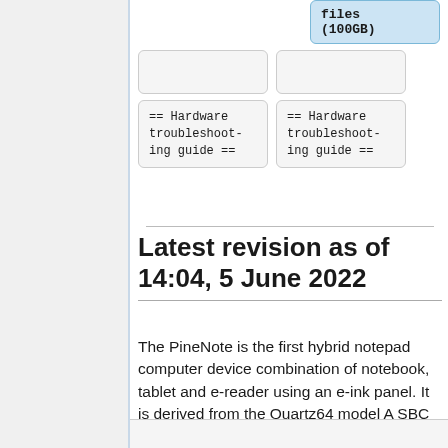[Figure (screenshot): Blue card with monospace text 'files (100GB)']
[Figure (screenshot): Two empty grey rounded cards in a row]
[Figure (screenshot): Two grey cards each containing monospace text '== Hardware troubleshooting guide ==']
Latest revision as of 14:04, 5 June 2022
The PineNote is the first hybrid notepad computer device combination of notebook, tablet and e-reader using an e-ink panel. It is derived from the Quartz64 model A SBC and powered by a Rockchip RK3566 quad-core ARM Cortex A55 64-bit processor with a MALI G-52 GPU.